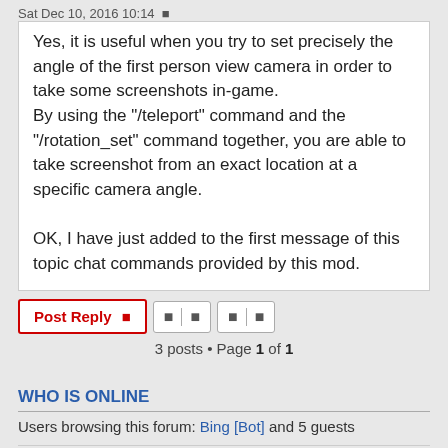Sat Dec 10, 2016 10:14
Yes, it is useful when you try to set precisely the angle of the first person view camera in order to take some screenshots in-game.
By using the "/teleport" command and the "/rotation_set" command together, you are able to take screenshot from an exact location at a specific camera angle.

OK, I have just added to the first message of this topic chat commands provided by this mod.
3 posts • Page 1 of 1
WHO IS ONLINE
Users browsing this forum: Bing [Bot] and 5 guests
Board index   All times are UTC
Powered by phpBB® Forum Software © phpBB Limited
Privacy | Terms